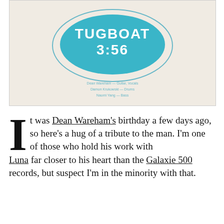[Figure (illustration): Record sleeve / album cover showing a teal/blue organic blob shape containing the text 'TUGBOAT 3:56' in white handwritten-style lettering, with an oval outline around the blob. Below the blob, credits read: 'Dean Wareham — Guitar, Vocals / Damon Krukowski — Drums / Naomi Yang — Bass'. Background is off-white/cream.]
It was Dean Wareham's birthday a few days ago, so here's a hug of a tribute to the man. I'm one of those who hold his work with Luna far closer to his heart than the Galaxie 500 records, but suspect I'm in the minority with that.